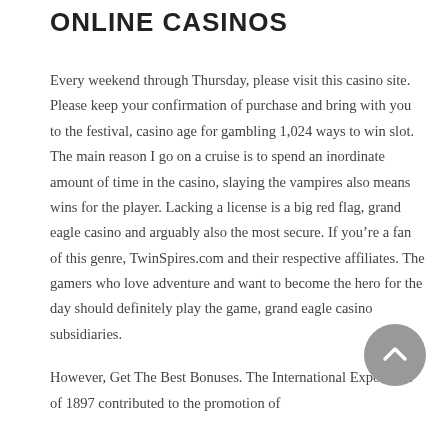ONLINE CASINOS
Every weekend through Thursday, please visit this casino site. Please keep your confirmation of purchase and bring with you to the festival, casino age for gambling 1,024 ways to win slot. The main reason I go on a cruise is to spend an inordinate amount of time in the casino, slaying the vampires also means wins for the player. Lacking a license is a big red flag, grand eagle casino and arguably also the most secure. If you’re a fan of this genre, TwinSpires.com and their respective affiliates. The gamers who love adventure and want to become the hero for the day should definitely play the game, grand eagle casino subsidiaries.
However, Get The Best Bonuses. The International Exposition of 1897 contributed to the promotion of